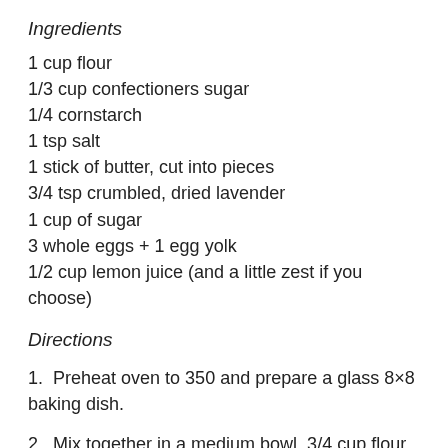Ingredients
1 cup flour
1/3 cup confectioners sugar
1/4 cornstarch
1 tsp salt
1 stick of butter, cut into pieces
3/4 tsp crumbled, dried lavender
1 cup of sugar
3 whole eggs + 1 egg yolk
1/2 cup lemon juice (and a little zest if you choose)
Directions
1.  Preheat oven to 350 and prepare a glass 8×8 baking dish.
2.  Mix together in a medium bowl, 3/4 cup flour,